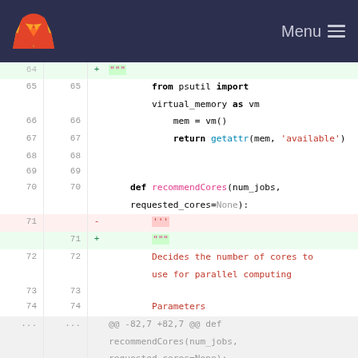GitLab Menu
[Figure (screenshot): Code diff view showing Python code changes. Lines 64-83 of a file showing changes to recommendCores function including docstring change from single-quoted to double-quoted triple quotes, and function definition for recommendCores.]